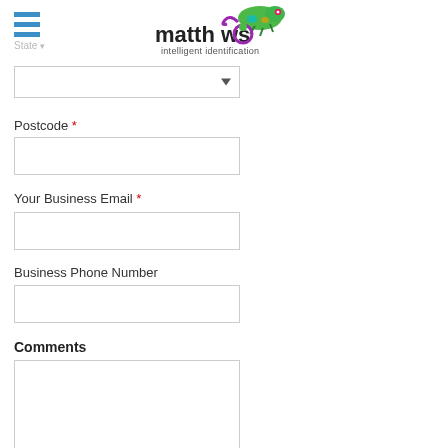[Figure (logo): Matthews intelligent identification logo with colorful chameleon graphic and hamburger menu icon]
State *
[Figure (screenshot): Dropdown select box for State field]
Postcode *
[Figure (screenshot): Text input box for Postcode]
Your Business Email *
[Figure (screenshot): Text input box for Your Business Email]
Business Phone Number
[Figure (screenshot): Text input box for Business Phone Number]
Comments
[Figure (screenshot): Textarea input box for Comments]